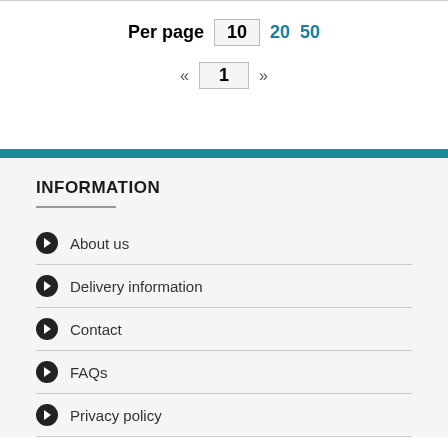Per page  10  20  50
«  1  »
INFORMATION
About us
Delivery information
Contact
FAQs
Privacy policy